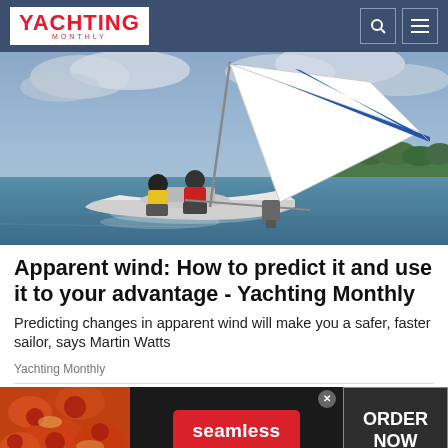YACHTING MONTHLY
[Figure (photo): Two sailors on a white sailboat heeled over in choppy water with a large white sail and blue striped spinnaker, green tree-lined shore in background under cloudy sky]
Apparent wind: How to predict it and use it to your advantage - Yachting Monthly
Predicting changes in apparent wind will make you a safer, faster sailor, says Martin Watts
Yachting Monthly
[Figure (other): Advertisement banner for Seamless food delivery featuring pizza image on left, red Seamless button in center, and ORDER NOW button on right with dark background]